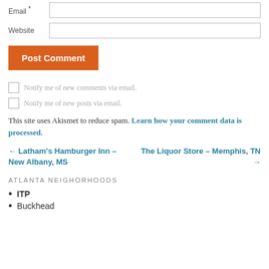Email *
Website
Post Comment
Notify me of new comments via email.
Notify me of new posts via email.
This site uses Akismet to reduce spam. Learn how your comment data is processed.
← Latham's Hamburger Inn – New Albany, MS
The Liquor Store – Memphis, TN →
ATLANTA NEIGHORHOODS
ITP
Buckhead